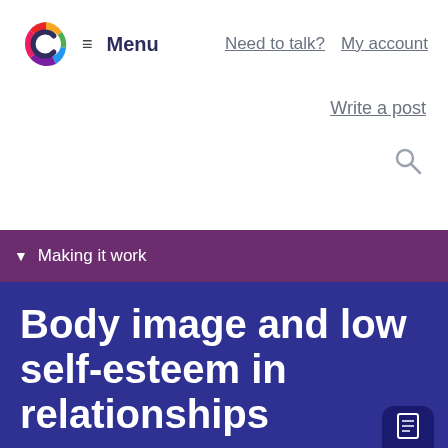[Figure (logo): Colourful C logo (red, yellow, green, blue swirl) for a website, followed by hamburger menu icon and 'Menu' text]
Need to talk?  My account
Write a post
Search icon
▾ Making it work
Body image and low self-esteem in relationships